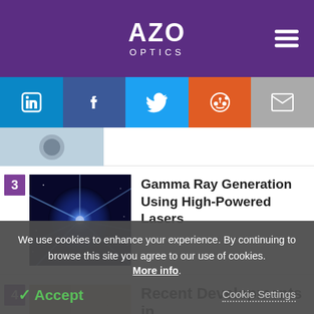[Figure (logo): AZO Optics website header with purple background, white AZO Optics logo and hamburger menu icon]
[Figure (infographic): Social sharing bar with LinkedIn, Facebook, Twitter, Reddit, and Email icons]
[Figure (photo): Partially visible article thumbnail showing optical lens equipment]
[Figure (photo): Article 3 thumbnail: blue laser/gamma ray nebula burst image]
Gamma Ray Generation Using High-Powered Lasers
[Figure (photo): Article 4 partially visible thumbnail showing laboratory/science image]
Recent Developments in
We use cookies to enhance your experience. By continuing to browse this site you agree to our use of cookies. More info.
✓ Accept   Cookie Settings